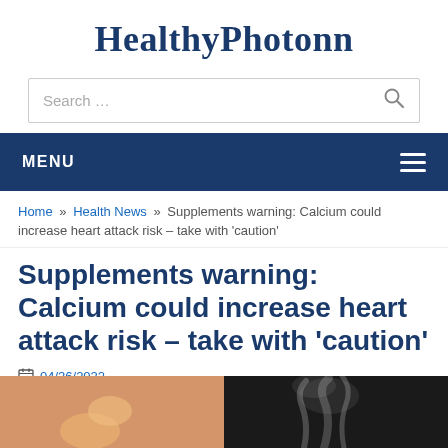HealthyPhotonn
Search …
MENU
Home » Health News » Supplements warning: Calcium could increase heart attack risk – take with 'caution'
Supplements warning: Calcium could increase heart attack risk – take with 'caution'
04/26/2022
[Figure (photo): Two photos: left shows a hand holding supplement pills, right shows cigarette smoke against dark background]